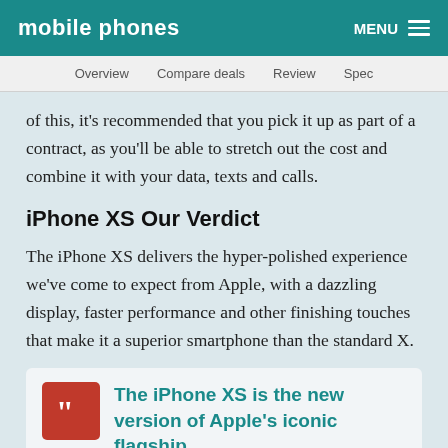mobile phones   MENU
Overview   Compare deals   Review   Spec
of this, it's recommended that you pick it up as part of a contract, as you'll be able to stretch out the cost and combine it with your data, texts and calls.
iPhone XS Our Verdict
The iPhone XS delivers the hyper-polished experience we've come to expect from Apple, with a dazzling display, faster performance and other finishing touches that make it a superior smartphone than the standard X.
The iPhone XS is the new version of Apple's iconic flagship